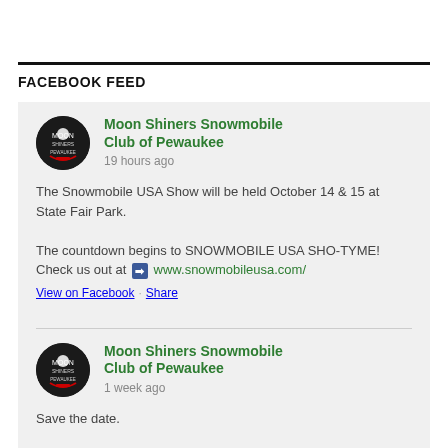FACEBOOK FEED
Moon Shiners Snowmobile Club of Pewaukee
19 hours ago

The Snowmobile USA Show will be held October 14 & 15 at State Fair Park.
The countdown begins to SNOWMOBILE USA SHO-TYME! Check us out at [icon] www.snowmobileusa.com/

View on Facebook · Share
Moon Shiners Snowmobile Club of Pewaukee
1 week ago

Save the date.